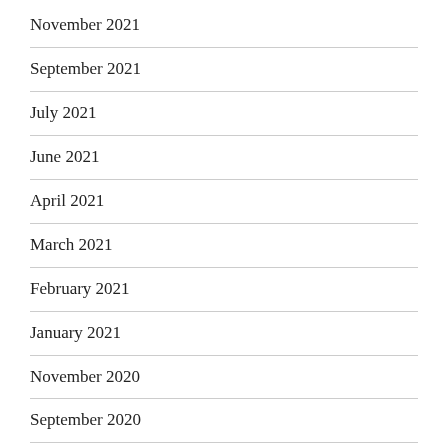November 2021
September 2021
July 2021
June 2021
April 2021
March 2021
February 2021
January 2021
November 2020
September 2020
August 2020